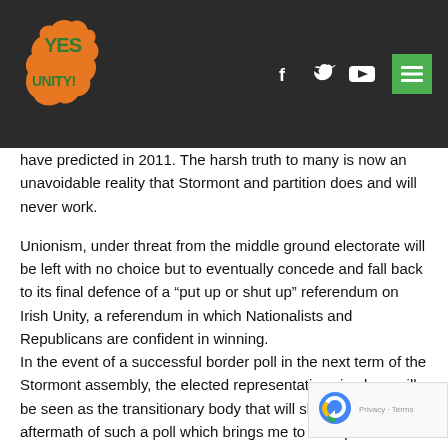[Figure (logo): Yes For Unity logo with green and orange text and Irish map outline on dark navigation bar]
have predicted in 2011. The harsh truth to many is now an unavoidable reality that Stormont and partition does and will never work.
Unionism, under threat from the middle ground electorate will be left with no choice but to eventually concede and fall back to its final defence of a “put up or shut up” referendum on Irish Unity, a referendum in which Nationalists and Republicans are confident in winning.
In the event of a successful border poll in the next term of the Stormont assembly, the elected representatives in place will be seen as the transitionary body that will shape the aftermath of such a poll which brings me to its importance.
Republican Socialists need to ensure that there exists a w... within this body that represents the socio-economic interests of